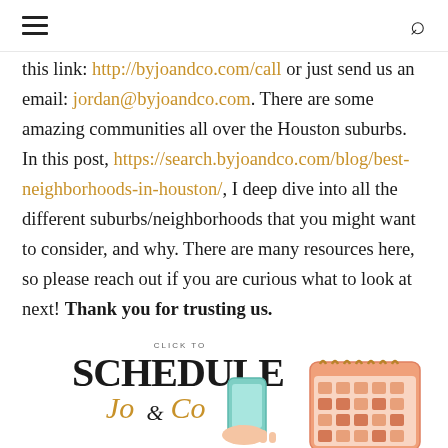Navigation header with hamburger menu and search icon
this link: http://byjoandco.com/call or just send us an email: jordan@byjoandco.com. There are some amazing communities all over the Houston suburbs. In this post, https://search.byjoandco.com/blog/best-neighborhoods-in-houston/, I deep dive into all the different suburbs/neighborhoods that you might want to consider, and why. There are many resources here, so please reach out if you are curious what to look at next! Thank you for trusting us.
[Figure (illustration): Schedule a call banner with stylized text reading CLICK TO SCHEDULE Jo & Co, accompanied by a hand holding a phone illustration and a calendar graphic]